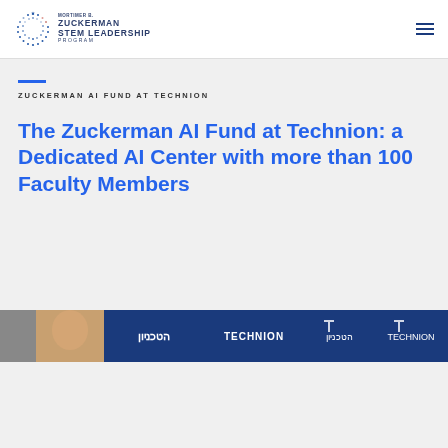MORTIMER B. ZUCKERMAN STEM LEADERSHIP PROGRAM
ZUCKERMAN AI FUND AT TECHNION
The Zuckerman AI Fund at Technion: a Dedicated AI Center with more than 100 Faculty Members
[Figure (photo): A banner/strip image showing a person and repeated Technion logos and text in Hebrew and English on a dark navy background]